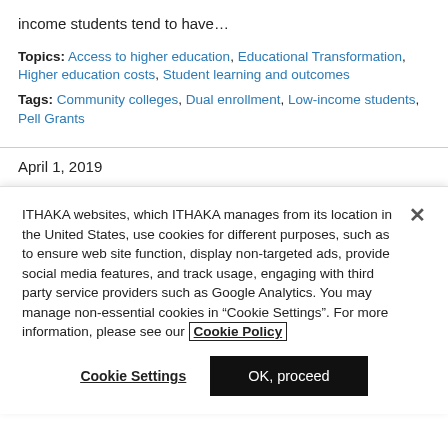income students tend to have…
Topics: Access to higher education, Educational Transformation, Higher education costs, Student learning and outcomes
Tags: Community colleges, Dual enrollment, Low-income students, Pell Grants
April 1, 2019
ITHAKA websites, which ITHAKA manages from its location in the United States, use cookies for different purposes, such as to ensure web site function, display non-targeted ads, provide social media features, and track usage, engaging with third party service providers such as Google Analytics. You may manage non-essential cookies in “Cookie Settings”. For more information, please see our Cookie Policy
Cookie Settings
OK, proceed